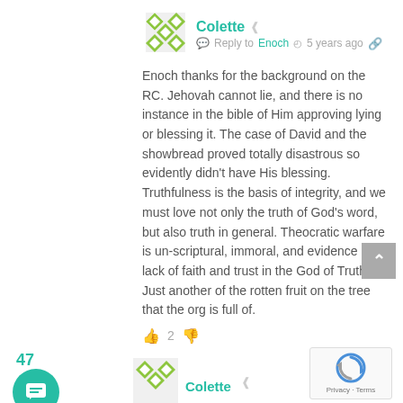[Figure (illustration): User avatar with green/white geometric diamond pattern logo for Colette]
Colette
Reply to Enoch  5 years ago
Enoch thanks for the background on the RC. Jehovah cannot lie, and there is no instance in the bible of Him approving lying or blessing it. The case of David and the showbread proved totally disastrous so evidently didn't have His blessing. Truthfulness is the basis of integrity, and we must love not only the truth of God's word, but also truth in general. Theocratic warfare is un-scriptural, immoral, and evidence of a lack of faith and trust in the God of Truth. Just another of the rotten fruit on the tree that the org is full of.
2
47
[Figure (illustration): User avatar with green/white geometric diamond pattern logo for Colette (second instance)]
Colette